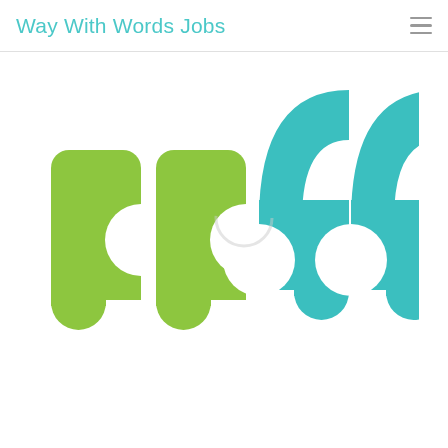Way With Words Jobs
[Figure (logo): Way With Words Jobs logo: two green opening double-quotation marks on the left and two teal/cyan closing double-quotation marks on the right, forming a speech bubble / quotation mark motif logo]